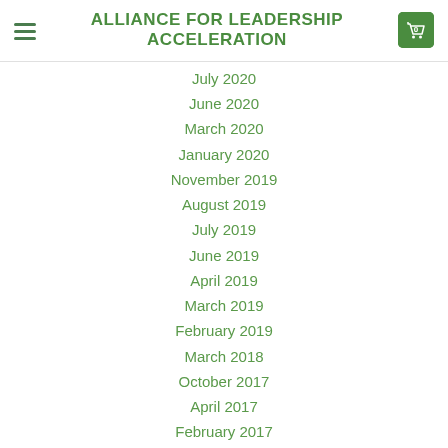ALLIANCE FOR LEADERSHIP ACCELERATION
July 2020
June 2020
March 2020
January 2020
November 2019
August 2019
July 2019
June 2019
April 2019
March 2019
February 2019
March 2018
October 2017
April 2017
February 2017
January 2017
October 2016
July 2016